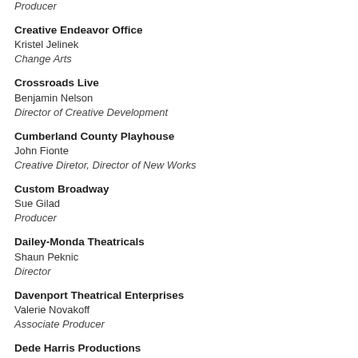Producer
Creative Endeavor Office
Kristel Jelinek
Change Arts
Crossroads Live
Benjamin Nelson
Director of Creative Development
Cumberland County Playhouse
John Fionte
Creative Diretor, Director of New Works
Custom Broadway
Sue Gilad
Producer
Dailey-Monda Theatricals
Shaun Peknic
Director
Davenport Theatrical Enterprises
Valerie Novakoff
Associate Producer
Dede Harris Productions